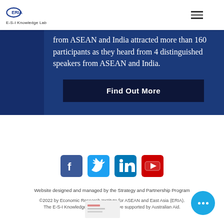ERIA E-S-I Knowledge Lab
from ASEAN and India attracted more than 160 participants as they heard from 4 distinguished speakers from ASEAN and India.
Find Out More
[Figure (other): Social media icons row: Facebook (blue square with f), Twitter (light blue square with bird), LinkedIn (blue square with in), YouTube (red square with play button)]
Website designed and managed by the Strategy and Partnership Program
©2022 by Economic Research Institute for ASEAN and East Asia (ERIA). The E-S-I Knowledge Lab is an initiative supported by Australian Aid.
[Figure (logo): Australian Aid logo (blurred)]
[Figure (other): Blue circular chat bubble with three dots]